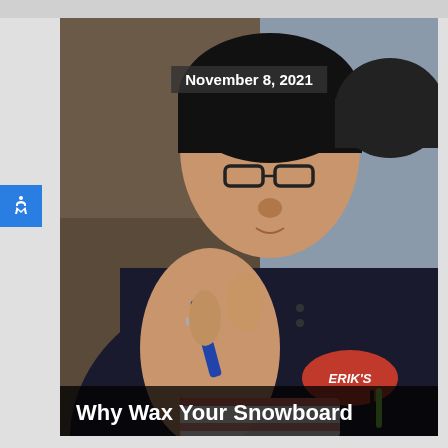[Figure (photo): An Erik's bike shop employee wearing a black Erik's branded polo shirt and glasses, working with his hands on a snowboard wax iron. The person is leaning forward in close-up view. A date overlay 'November 8, 2021' appears at the top of the image, and a title overlay 'Why Wax Your Snowboard' appears at the bottom.]
November 8, 2021
Why Wax Your Snowboard